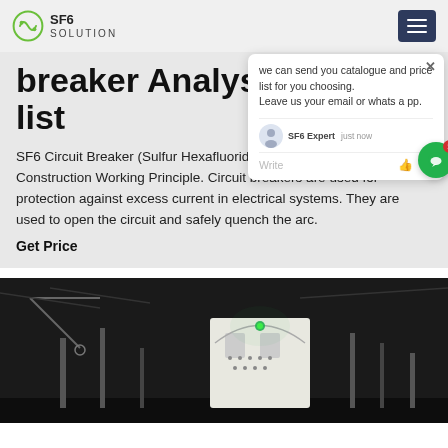SF6 SOLUTION
breaker Analysis price list
SF6 Circuit Breaker (Sulfur Hexafluoride Circuit Breaker) – Construction Working Principle. Circuit breakers are used for protection against excess current in electrical systems. They are used to open the circuit and safely quench the arc.
Get Price
[Figure (screenshot): Chat popup with message: we can send you catalogue and price list for you choosing. Leave us your email or whatsapp. SF6 Expert just now. Write field with like and attachment icons. Green chat bubble button with badge showing 1.]
[Figure (photo): Night photograph of industrial electrical substation or SF6 circuit breaker equipment, dark background with some lit elements and mechanical structures visible.]